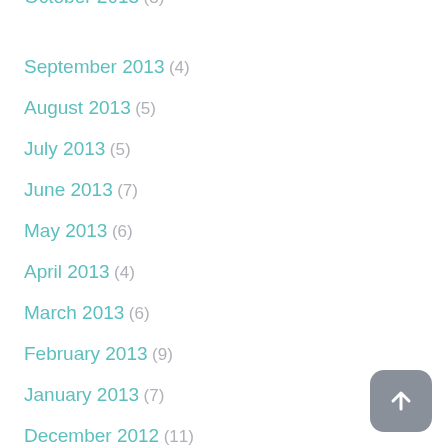October 2013 (3)
September 2013 (4)
August 2013 (5)
July 2013 (5)
June 2013 (7)
May 2013 (6)
April 2013 (4)
March 2013 (6)
February 2013 (9)
January 2013 (7)
December 2012 (11)
November 2012 (8)
October 2012 (5)